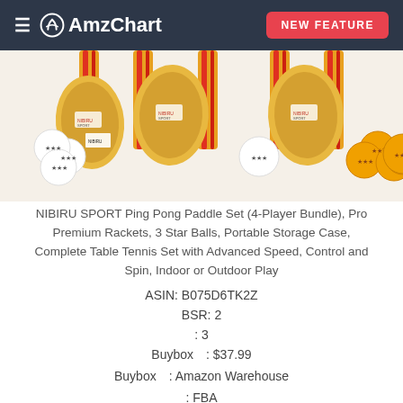AmzChart — NEW FEATURE
[Figure (photo): Ping pong paddles and table tennis balls (white and orange) product photo on light background]
NIBIRU SPORT Ping Pong Paddle Set (4-Player Bundle), Pro Premium Rackets, 3 Star Balls, Portable Storage Case, Complete Table Tennis Set with Advanced Speed, Control and Spin, Indoor or Outdoor Play
ASIN: B075D6TK2Z
BSR: 2
: 3
Buybox　: $37.99
Buybox　: Amazon Warehouse
: FBA